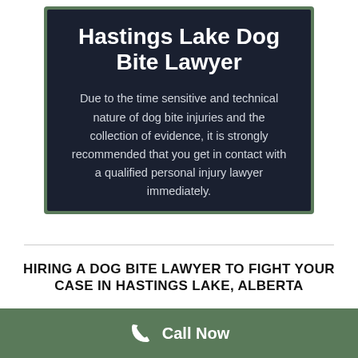Hastings Lake Dog Bite Lawyer
Due to the time sensitive and technical nature of dog bite injuries and the collection of evidence, it is strongly recommended that you get in contact with a qualified personal injury lawyer immediately.
HIRING A DOG BITE LAWYER TO FIGHT YOUR CASE IN HASTINGS LAKE, ALBERTA
Call Now